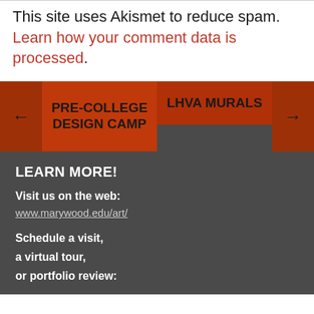This site uses Akismet to reduce spam. Learn how your comment data is processed.
← PRE-COLLEGE DESIGN CAMP    LHVA MURALS →
LEARN MORE!
Visit us on the web:
www.marywood.edu/art/
Schedule a visit,
a virtual tour,
or portfolio review: